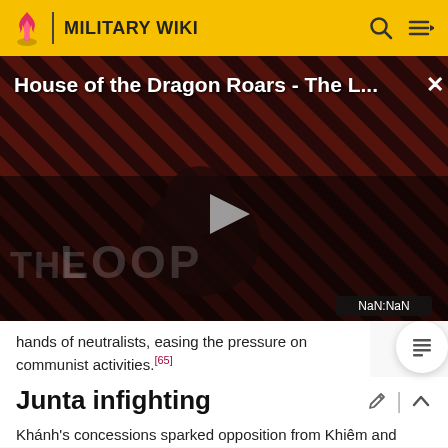MILITARY WIKI
[Figure (screenshot): Video player showing 'House of the Dragon Roars - The L...' with THE LOOP branding, dark striped background, play button, and NaN:NaN time display]
hands of neutralists, easing the pressure on communist activities.[65]
Junta infighting
Khánh's concessions sparked opposition from Khiêm and